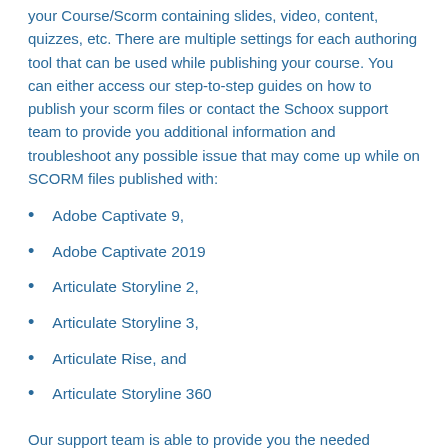your Course/Scorm containing slides, video, content, quizzes, etc. There are multiple settings for each authoring tool that can be used while publishing your course. You can either access our step-to-step guides on how to publish your scorm files or contact the Schoox support team to provide you additional information and troubleshoot any possible issue that may come up while on SCORM files published with:
Adobe Captivate 9,
Adobe Captivate 2019
Articulate Storyline 2,
Articulate Storyline 3,
Articulate Rise, and
Articulate Storyline 360
Our support team is able to provide you the needed guidance on a daily basis. Please feel free to contact us to investigate